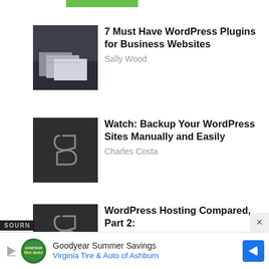[Figure (screenshot): Green bar partial at top of page]
[Figure (photo): Thumbnail photo of printed publications/design layouts on a dark desk]
7 Must Have WordPress Plugins for Business Websites
Sally Wood
[Figure (logo): Dark square thumbnail with stylized S logo]
Watch: Backup Your WordPress Sites Manually and Easily
Charles Costa
[Figure (logo): Dark square thumbnail with stylized S logo]
WordPress Hosting Compared, Part 2:
SOURN
[Figure (screenshot): Advertisement banner: Goodyear Summer Savings - Virginia Tire & Auto of Ashburn]